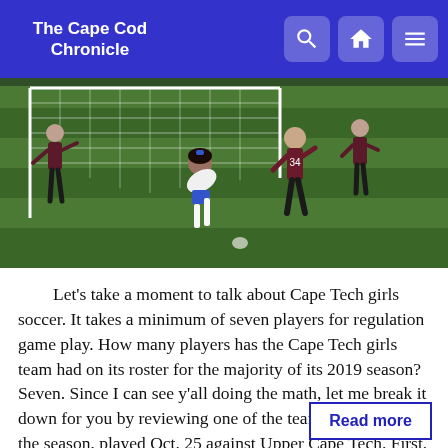The Cape Cod Chronicle
[Figure (photo): Girls soccer game at night on a grass field. Players in maroon/dark uniforms and one in white compete near a goal net.]
Let's take a moment to talk about Cape Tech girls soccer. It takes a minimum of seven players for regulation game play. How many players has the Cape Tech girls team had on its roster for the majority of its 2019 season? Seven. Since I can see y'all doing the math, let me break it down for you by reviewing one of the team's last games of the season, played Oct. 25 against Upper Cape Tech. First, huge praise to...
Read more